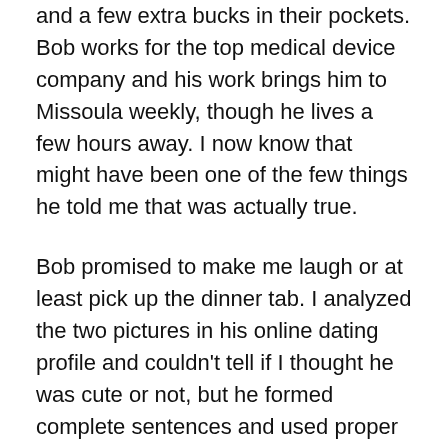and a few extra bucks in their pockets. Bob works for the top medical device company and his work brings him to Missoula weekly, though he lives a few hours away. I now know that might have been one of the few things he told me that was actually true.
Bob promised to make me laugh or at least pick up the dinner tab. I analyzed the two pictures in his online dating profile and couldn't tell if I thought he was cute or not, but he formed complete sentences and used proper grammar, which gave him a leg up on the majority.
I've never been a fan of long-distance relationships—they always seem neither here nor there—but I was up for trying something new, and